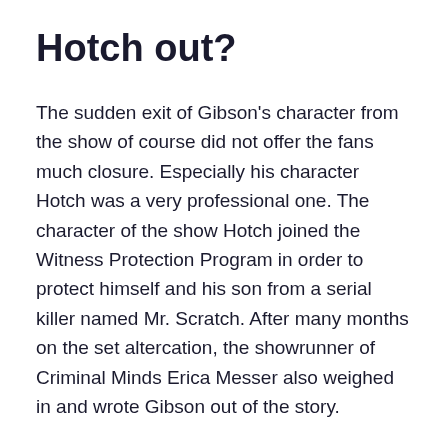Hotch out?
The sudden exit of Gibson's character from the show of course did not offer the fans much closure. Especially his character Hotch was a very professional one. The character of the show Hotch joined the Witness Protection Program in order to protect himself and his son from a serial killer named Mr. Scratch. After many months on the set altercation, the showrunner of Criminal Minds Erica Messer also weighed in and wrote Gibson out of the story.
Erica gave her statement in an interview with TV Guide:
“Without having a chance to see Thomas again to